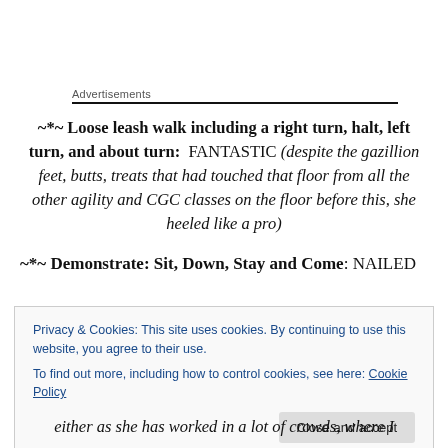Advertisements
~*~ Loose leash walk including a right turn, halt, left turn, and about turn: FANTASTIC (despite the gazillion feet, butts, treats that had touched that floor from all the other agility and CGC classes on the floor before this, she heeled like a pro)
~*~ Demonstrate: Sit, Down, Stay and Come: NAILED
Privacy & Cookies: This site uses cookies. By continuing to use this website, you agree to their use.
To find out more, including how to control cookies, see here: Cookie Policy
either as she has worked in a lot of crowds, where I